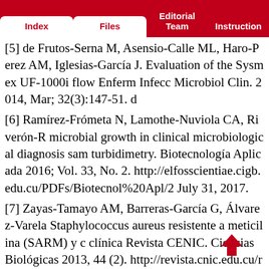Index | Files | Editorial Team | Instructions
[5] de Frutos-Serna M, Asensio-Calle ML, Haro-Perez AM, Iglesias-García J. Evaluation of the Sysmex UF-1000i flow Enferm Infecc Microbiol Clin. 2014, Mar; 32(3):147-51. d
[6] Ramírez-Frómeta N, Lamothe-Nuviola CA, Riverón-R microbial growth in clinical microbiological diagnosis sam turbidimetry. Biotecnología Aplicada 2016; Vol. 33, No. 2. http://elfosscientiae.cigb.edu.cu/PDFs/Biotecnol%20Apl/2 July 31, 2017.
[7] Zayas-Tamayo AM, Barreras-García G, Álvarez-Varela Staphylococcus aureus resistente a meticilina (SARM) y c clínica Revista CENIC. Ciencias Biológicas 2013, 44 (2). http://revista.cnic.edu.cu/revistaCB/articulos/detecci%C3% staphylococcus-aureus-resistente-meticilina-sarm. Accesse
[8] Alvarez-Varela E, Contreras-Alarcón R y Alvarez-Pine cubana de laboratorios con equipos Diramic durante los añ